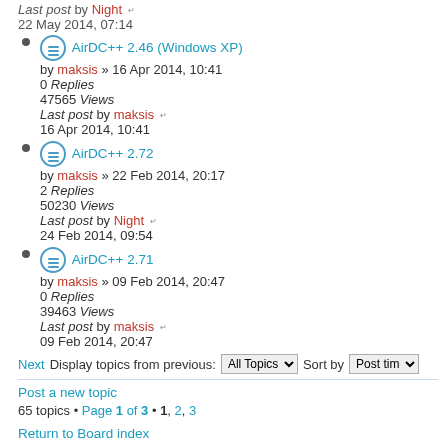Last post by Night  22 May 2014, 07:14
AirDC++ 2.46 (Windows XP) by maksis » 16 Apr 2014, 10:41
0 Replies
47565 Views
Last post by maksis  16 Apr 2014, 10:41
AirDC++ 2.72 by maksis » 22 Feb 2014, 20:17
2 Replies
50230 Views
Last post by Night  24 Feb 2014, 09:54
AirDC++ 2.71 by maksis » 09 Feb 2014, 20:47
0 Replies
39463 Views
Last post by maksis  09 Feb 2014, 20:47
Next Display topics from previous: All Topics Sort by Post time
Post a new topic
65 topics • Page 1 of 3 • 1, 2, 3
Return to Board index
Jump to: Announcement & News  Go